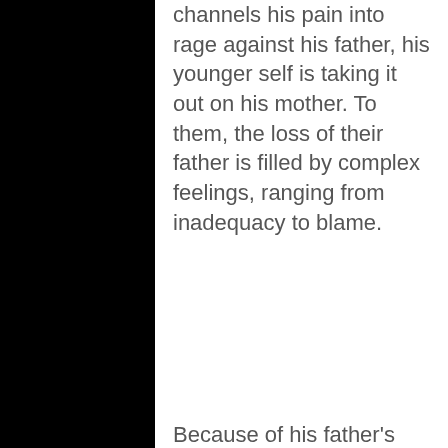channels his pain into rage against his father, his younger self is taking it out on his mother. To them, the loss of their father is filled by complex feelings, ranging from inadequacy to blame.
Because of his father's own failings, adult Adam believes that he was unimportant to him. But is the world